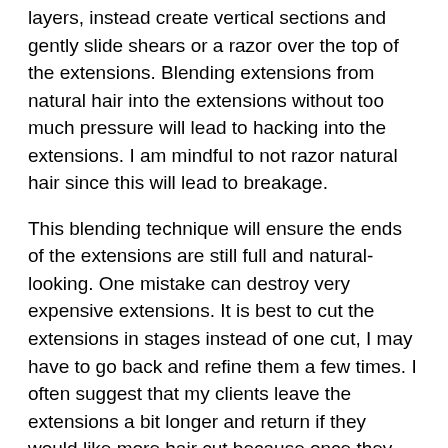layers, instead create vertical sections and gently slide shears or a razor over the top of the extensions.  Blending extensions from natural hair into the extensions without too much pressure will lead to hacking into the extensions.  I am mindful to not razor natural hair since this will lead to breakage.
This blending technique will ensure the ends of the extensions are still full and natural-looking.  One mistake can destroy very expensive extensions.  It is best to cut the extensions in stages instead of one cut,  I may have to go back and refine them a few times.  I often suggest that my clients leave the extensions a bit longer and return if they would like more hair cut because once they are cut there is no going back.
Blending
Some hairstylists prefer not to cut the